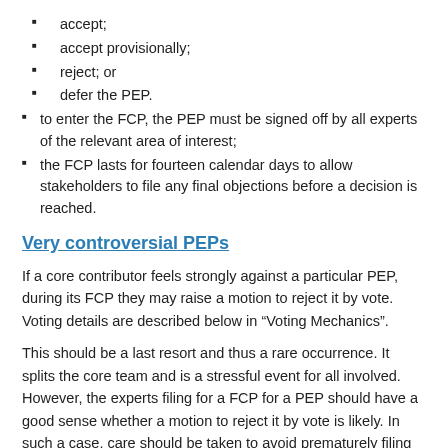accept;
accept provisionally;
reject; or
defer the PEP.
to enter the FCP, the PEP must be signed off by all experts of the relevant area of interest;
the FCP lasts for fourteen calendar days to allow stakeholders to file any final objections before a decision is reached.
Very controversial PEPs
If a core contributor feels strongly against a particular PEP, during its FCP they may raise a motion to reject it by vote. Voting details are described below in “Voting Mechanics”.
This should be a last resort and thus a rare occurrence. It splits the core team and is a stressful event for all involved. However, the experts filing for a FCP for a PEP should have a good sense whether a motion to reject it by vote is likely. In such a case, care should be taken to avoid prematurely filing for a FCP.
There is no recourse for the opposite situation, i.e. when the